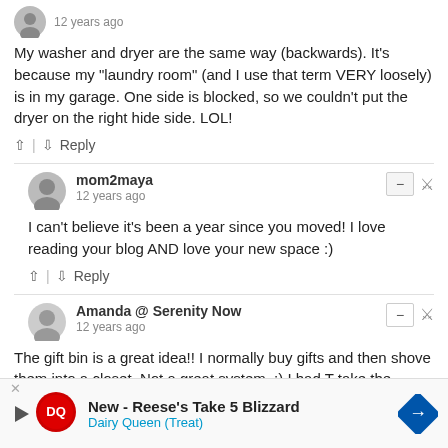My washer and dryer are the same way (backwards). It's because my "laundry room" (and I use that term VERY loosely) is in my garage. One side is blocked, so we couldn't put the dryer on the right hide side. LOL!
^ | v   Reply
mom2maya
12 years ago
I can't believe it's been a year since you moved! I love reading your blog AND love your new space :)
^ | v   Reply
Amanda @ Serenity Now
12 years ago
The gift bin is a great idea!! I normally buy gifts and then shove them into a closet. Not a great system. ;) I had T take the world's ugliest chair out of the girls' room today, and it already feels so much roomier in there. :) Much better!
[Figure (infographic): Advertisement banner for Dairy Queen - New Reese's Take 5 Blizzard]